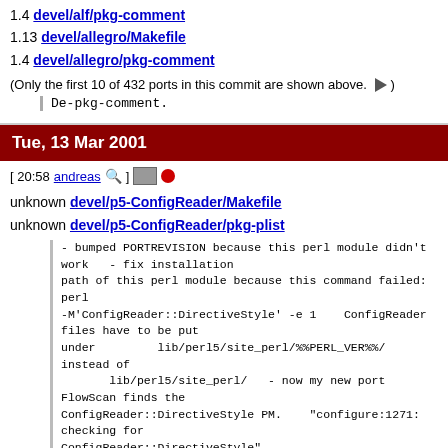1.4 devel/alf/pkg-comment
1.13 devel/allegro/Makefile
1.4 devel/allegro/pkg-comment
(Only the first 10 of 432 ports in this commit are shown above.)
De-pkg-comment.
Tue, 13 Mar 2001
[ 20:58 andreas ] ●
unknown devel/p5-ConfigReader/Makefile
unknown devel/p5-ConfigReader/pkg-plist
- bumped PORTREVISION because this perl module didn't work   - fix installation path of this perl module because this command failed: perl -M'ConfigReader::DirectiveStyle' -e 1    ConfigReader files have to be put under         lib/perl5/site_perl/%%PERL_VER%%/ instead of         lib/perl5/site_perl/   - now my new port FlowScan finds the ConfigReader::DirectiveStyle PM.    "configure:1271: checking for ConfigReader::DirectiveStyle"